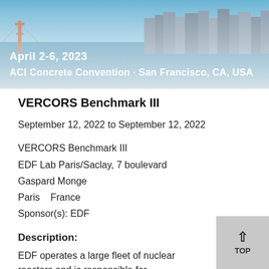[Figure (photo): Aerial photo of San Francisco skyline and bay with ACI Concrete Convention banner text overlay: 'April 2-6, 2023' and 'ACI Concrete Convention · San Francisco, CA, USA']
VERCORS Benchmark III
September 12, 2022 to September 12, 2022
VERCORS Benchmark III
EDF Lab Paris/Saclay, 7 boulevard
Gaspard Monge
Paris    France
Sponsor(s): EDF
Description:
EDF operates a large fleet of nuclear reactors and is responsible for demonstrating the safety of its installations,